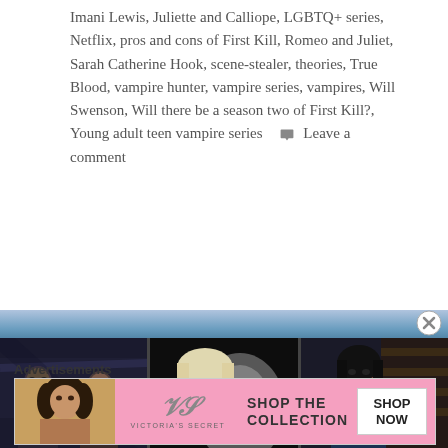Imani Lewis, Juliette and Calliope, LGBTQ+ series, Netflix, pros and cons of First Kill, Romeo and Juliet, Sarah Catherine Hook, scene-stealer, theories, True Blood, vampire hunter, vampire series, vampires, Will Swenson, Will there be a season two of First Kill?, Young adult teen vampire series 💬 Leave a comment
[Figure (photo): A horizontal strip of three dark movie/TV stills: left panel shows a man and woman in a dimly lit scene; middle panel shows a child or young person screaming open-mouthed with a ghostly figure behind; right panel shows a woman in a dark setting.]
Advertisements
[Figure (photo): Victoria's Secret advertisement banner with pink background. Shows a model on the left, the VS logo and 'Victoria's Secret' in center, 'SHOP THE COLLECTION' text, and a white 'SHOP NOW' button on the right.]